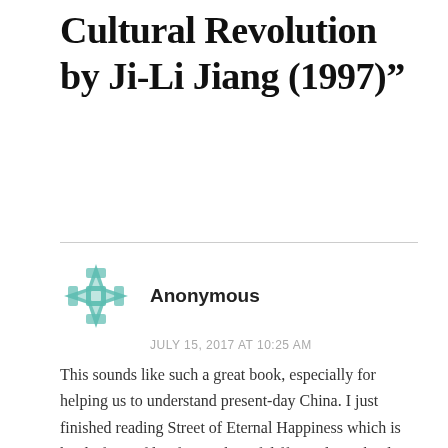Cultural Revolution by Ji-Li Jiang (1997)”
Anonymous
JULY 15, 2017 AT 10:25 AM
This sounds like such a great book, especially for helping us to understand present-day China. I just finished reading Street of Eternal Happiness which is kind of a profile of a number of different lives that live along a Shanghai street. Because it was written by a journalist, it has lots of